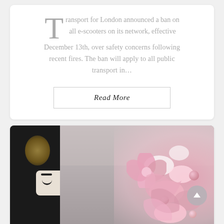Transport for London announced a ban on all e-scooters on its network, effective December 13th, over safety concerns following recent fires. The ban will apply to all public transport in...
Read More
[Figure (photo): A decorative photo showing on the left a black fluffy nutcracker-style figure with a gold emblem and a white face with drawn-on eye and eyebrow, and on the right a pink floral Christmas tree decorated with pink satin ribbons, large pink flowers, white fluffy ornaments, pink baubles, and glittery silver branches, set against a shelf with framed pictures in the background.]